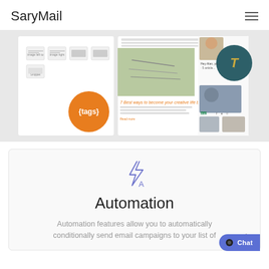SaryMail
[Figure (screenshot): Screenshot of SaryMail email editor interface showing layout blocks, image options, a {tags} orange badge, and email newsletter preview with article thumbnails and a teal 'T' avatar icon]
[Figure (illustration): Lightning bolt auto icon in blue/purple outline style representing automation feature]
Automation
Automation features allow you to automatically conditionally send email campaigns to your list of